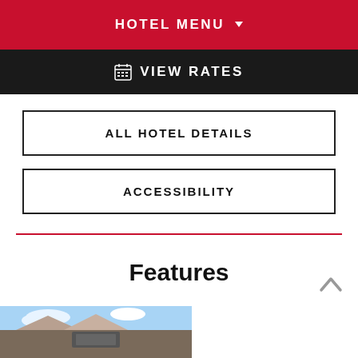HOTEL MENU
VIEW RATES
ALL HOTEL DETAILS
ACCESSIBILITY
Features
[Figure (photo): Partial view of a hotel exterior or outdoor area with blue sky]